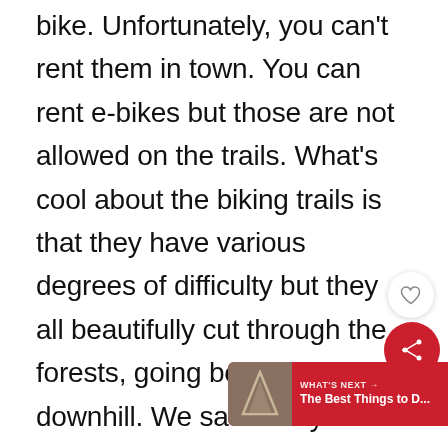bike. Unfortunately, you can't rent them in town. You can rent e-bikes but those are not allowed on the trails. What's cool about the biking trails is that they have various degrees of difficulty but they all beautifully cut through the forests, going both uphill and downhill. We saw everyone from experienced mountain bikers to entire families, including young kids that didn't look much older than 6 or 7.